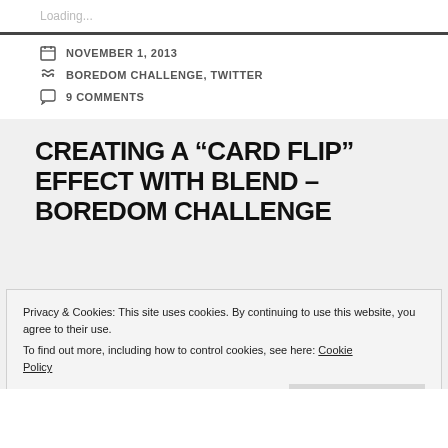Loading...
NOVEMBER 1, 2013
BOREDOM CHALLENGE, TWITTER
9 COMMENTS
CREATING A “CARD FLIP” EFFECT WITH BLEND – BOREDOM CHALLENGE
Privacy & Cookies: This site uses cookies. By continuing to use this website, you agree to their use.
To find out more, including how to control cookies, see here: Cookie Policy
Close and accept